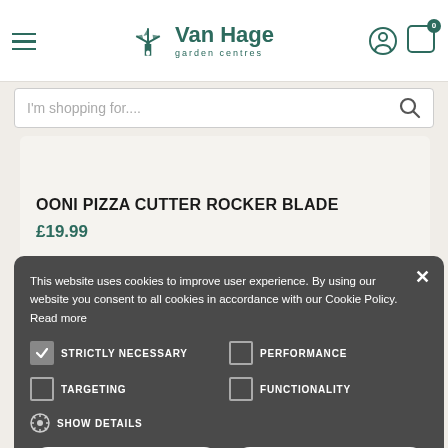Van Hage garden centres — navigation header with search bar
OONI PIZZA CUTTER ROCKER BLADE
£19.99
This website uses cookies to improve user experience. By using our website you consent to all cookies in accordance with our Cookie Policy. Read more
STRICTLY NECESSARY (checked)
PERFORMANCE
TARGETING
FUNCTIONALITY
SHOW DETAILS
ACCEPT ALL
DECLINE ALL
join our community